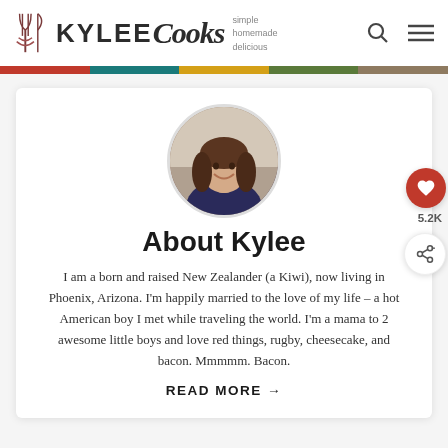[Figure (logo): Kylee Cooks logo with utensils icon and tagline: simple homemade delicious]
[Figure (photo): Circular profile photo of Kylee, a smiling woman with long dark hair wearing a dark top]
About Kylee
I am a born and raised New Zealander (a Kiwi), now living in Phoenix, Arizona. I'm happily married to the love of my life – a hot American boy I met while traveling the world. I'm a mama to 2 awesome little boys and love red things, rugby, cheesecake, and bacon. Mmmmm. Bacon.
READ MORE →